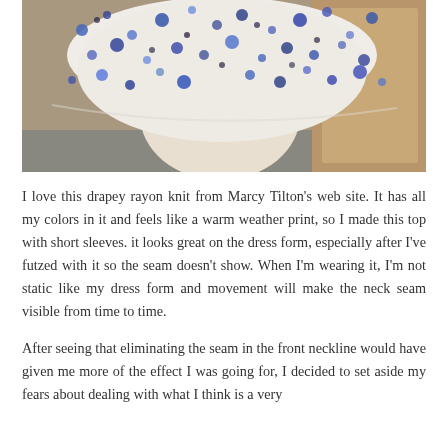[Figure (photo): Photo of a blue and white spotted/dotted rayon knit fabric top displayed on a dress form mannequin, against a wood-toned background.]
I love this drapey rayon knit from Marcy Tilton's web site. It has all my colors in it and feels like a warm weather print, so I made this top with short sleeves. it looks great on the dress form, especially after I've futzed with it so the seam doesn't show. When I'm wearing it, I'm not static like my dress form and movement will make the neck seam visible from time to time.
After seeing that eliminating the seam in the front neckline would have given me more of the effect I was going for, I decided to set aside my fears about dealing with what I think is a very